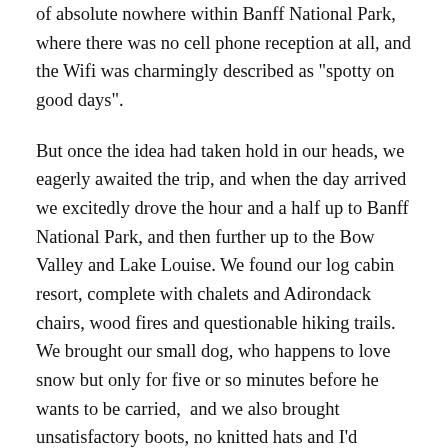of absolute nowhere within Banff National Park, where there was no cell phone reception at all, and the Wifi was charmingly described as "spotty on good days".
But once the idea had taken hold in our heads, we eagerly awaited the trip, and when the day arrived we excitedly drove the hour and a half up to Banff National Park, and then further up to the Bow Valley and Lake Louise. We found our log cabin resort, complete with chalets and Adirondack chairs, wood fires and questionable hiking trails. We brought our small dog, who happens to love snow but only for five or so minutes before he wants to be carried,  and we also brought unsatisfactory boots, no knitted hats and I'd forgotten my gloves. We were off to a good start.
But still, it was beautiful. I've said before that mountains aren't as moving to me as say, fresh lake water or a deep green forest in sunlight, but they get the job done when